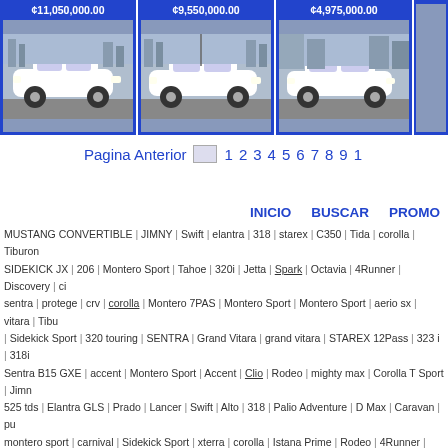[Figure (photo): Three car listing cards with prices: ¢11,050,000.00, ¢9,550,000.00, ¢4,975,000.00, each showing a white car photo on blue background]
Pagina Anterior   1 2 3 4 5 6 7 8 9 1
INICIO   BUSCAR   PROMO
MUSTANG CONVERTIBLE | JIMNY | Swift | elantra | 318 | starex | C350 | Tida | corolla | Tiburon | SIDEKICK JX | 206 | Montero Sport | Tahoe | 320i | Jetta | Spark | Octavia | 4Runner | Discovery | ci | sentra | protege | crv | corolla | Montero 7PAS | Montero Sport | Montero Sport | aerio sx | vitara | Tibu | Sidekick Sport | 320 touring | SENTRA | Grand Vitara | grand vitara | STAREX 12Pass | 323 i | 318i | Sentra B15 GXE | accent | Montero Sport | Accent | Clio | Rodeo | mighty max | Corolla T Sport | Jimn | 525 tds | Elantra GLS | Prado | Lancer | Swift | Alto | 318 | Palio Adventure | D Max | Caravan | pu | montero sport | carnival | Sidekick Sport | xterra | corolla | Istana Prime | Rodeo | 4Runner | tercel | sedan | Partner | Kangoo Exp | 206 xt | 407 SW | 206 CC | 207 HDI | 307 sedan | Grand Vitara | gra | Gran Vitara | Elantra | Accent | Tiburon | Spark | Spark | A3 | Sprinter | platina | murano | cooper | M | Accent | Civic | H100 | Cuore | Sentra B14 GXE | Accent | Accent | Elantra | Spark | ACCENT | A | TIBURON | Accent | Accent | 307 | Accent | accent | Accent | TERCEL CE | Accent | Starex | 325 ci | Rodeo | 206 | tracker | SPARK | SPARK | SPARK | Galloper | Astra | Accent | Porter | Clio | Sentra